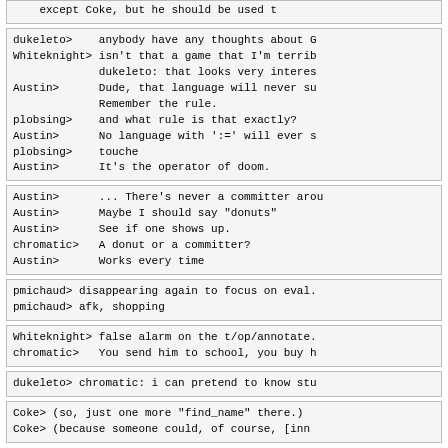except Coke, but he should be used t
dukeleto>    anybody have any thoughts about G
Whiteknight> isn't that a game that I'm terrib
             dukeleto: that looks very interes
Austin>      Dude, that language will never su
             Remember the rule.
plobsing>    and what rule is that exactly?
Austin>      No language with ':=' will ever s
plobsing>    touche
Austin>      It's the operator of doom.
Austin>      ... There's never a committer arou
Austin>      Maybe I should say "donuts"
Austin>      See if one shows up.
chromatic>   A donut or a committer?
Austin>      Works every time
pmichaud> disappearing again to focus on eval.
pmichaud> afk, shopping
Whiteknight> false alarm on the t/op/annotate.
chromatic>   You send him to school, you buy h
dukeleto> chromatic: i can pretend to know stu
Coke> (so, just one more "find_name" there.)
Coke> (because someone could, of course, [inn